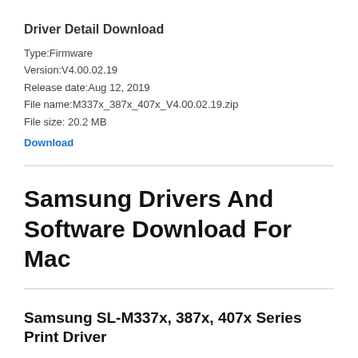Driver Detail Download
Type:Firmware
Version:V4.00.02.19
Release date:Aug 12, 2019
File name:M337x_387x_407x_V4.00.02.19.zip
File size: 20.2 MB
Download
Samsung Drivers And Software Download For Mac
Samsung SL-M337x, 387x, 407x Series Print Driver